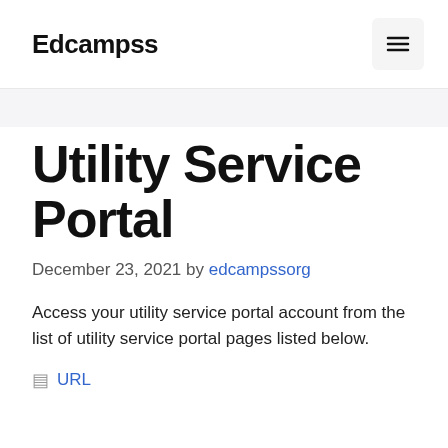Edcampss
Utility Service Portal
December 23, 2021 by edcampssorg
Access your utility service portal account from the list of utility service portal pages listed below.
URL